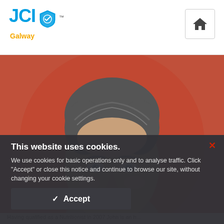JCI Galway
[Figure (photo): Circular cropped headshot of a middle-aged man with grey-brown hair, blue eyes, against a warm orange-red background]
This website uses cookies.
We use cookies for basic operations only and to analyse traffic. Click "Accept" or close this notice and continue to browse our site, without changing your cookie settings.
✓ Accept
Having qualified as a Nutritionist in 2007 John is an h...